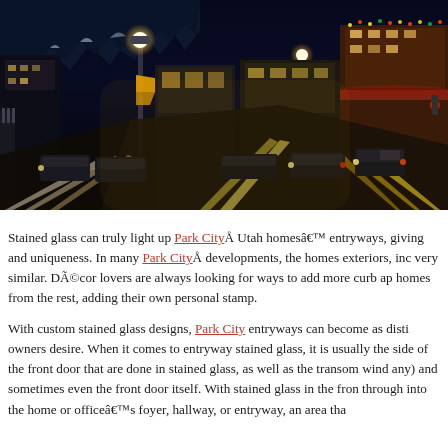[Figure (photo): Night photo of Park City Utah main street with warm street lights, traffic light streaks, snow-covered buildings, Christmas lights, and cars lined up on both sides of a busy downtown street in winter.]
Stained glass can truly light up Park CityÅ Utah homesâ€™ entryways, giving and uniqueness. In many Park CityÅ developments, the homes exteriors, inc very similar. DÃ©cor lovers are always looking for ways to add more curb ap homes from the rest, adding their own personal stamp.
With custom stained glass designs, Park City entryways can become as disti owners desire. When it comes to entryway stained glass, it is usually the side of the front door that are done in stained glass, as well as the transom wind any) and sometimes even the front door itself. With stained glass in the fron through into the home or officeâ€™s foyer, hallway, or entryway, an area tha